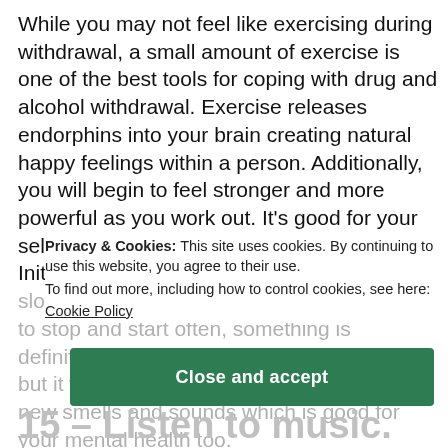While you may not feel like exercising during withdrawal, a small amount of exercise is one of the best tools for coping with drug and alcohol withdrawal. Exercise releases endorphins into your brain creating natural happy feelings within a person. Additionally, you will begin to feel stronger and more powerful as you work out. It's good for your self-confidence and for your recovery. Initially, even a gentle walk which you can slowly expand on will help. Even if you have to stop and start often, something is definitely better than nothing! Not only that but it will allow you to see new things, take in new smells and sounds which is good for your mental health too.
Privacy & Cookies: This site uses cookies. By continuing to use this website, you agree to their use.
To find out more, including how to control cookies, see here: Cookie Policy
Close and accept
15 – Listen to music.